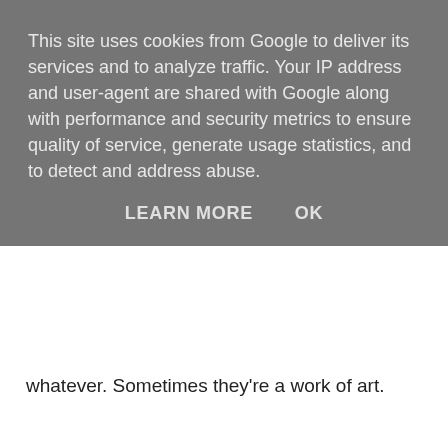[Figure (screenshot): Google cookie consent overlay banner with grey background. Text reads: 'This site uses cookies from Google to deliver its services and to analyze traffic. Your IP address and user-agent are shared with Google along with performance and security metrics to ensure quality of service, generate usage statistics, and to detect and address abuse.' with buttons 'LEARN MORE' and 'OK'.]
whatever. Sometimes they're a work of art.
You've also featured comedians who are on the cusp of a huge career, such as Romesh Ranganathan and James Acaster. It's a step up for them, doing Taskmaster, isn't it?
Greg: Because it's a ten-week series, by the last episode you really feel you know these people inside out. A lot of